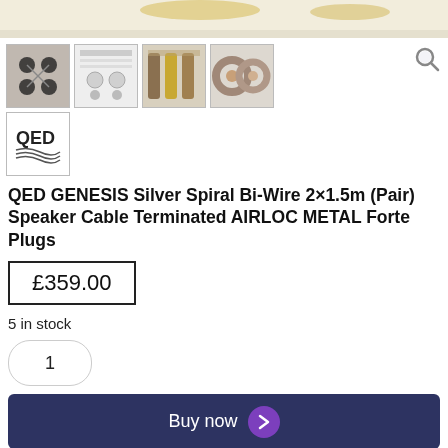[Figure (photo): Top portion of product image showing QED Genesis Silver Spiral cable with gold connectors]
[Figure (photo): Thumbnail 1: close-up of black banana plug connectors]
[Figure (photo): Thumbnail 2: product spec sheet with connectors diagram]
[Figure (photo): Thumbnail 3: wire and cable detail with golden connectors]
[Figure (photo): Thumbnail 4: cross-section diagrams of cable]
[Figure (logo): QED logo thumbnail]
QED GENESIS Silver Spiral Bi-Wire 2×1.5m (Pair) Speaker Cable Terminated AIRLOC METAL Forte Plugs
£359.00
5 in stock
1
Buy now
— OR —
Leave a message  ×